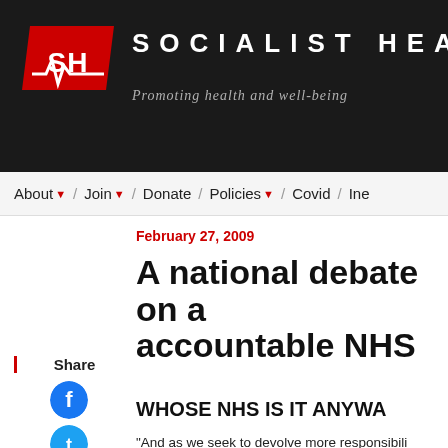[Figure (logo): Socialist Health Association logo — red parallelogram with white SHW letters and heartbeat line]
SOCIALIST HEAL
Promoting health and well-being
About ▼ / Join ▼ / Donate / Policies ▼ / Covid / Ine
February 27, 2009
A national debate on a accountable NHS
Share
WHOSE NHS IS IT ANYWA
"And as we seek to devolve more responsibili